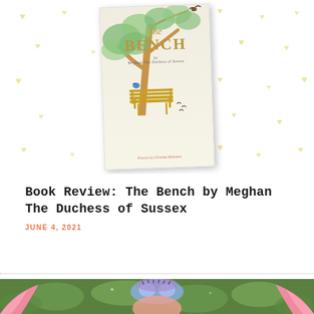[Figure (photo): Book cover of 'The Bench' by Meghan, The Duchess of Sussex, illustrated by Christian Robinson. Cover shows a watercolor tree with green leaves, a golden/yellow bench underneath, small birds, on a cream background. The cover is shown at a slight angle with a heart-patterned background behind it.]
Book Review: The Bench by Meghan The Duchess of Sussex
JUNE 4, 2021
[Figure (photo): Partial photo showing what appears to be a child in a colorful costume with a blue mask/hat with eyelashes and pink wing or costume element, set against a green leafy background.]